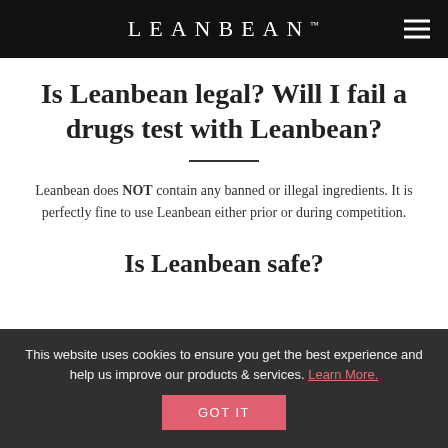LEANBEAN™
Is Leanbean legal? Will I fail a drugs test with Leanbean?
Leanbean does NOT contain any banned or illegal ingredients. It is perfectly fine to use Leanbean either prior or during competition.
Is Leanbean safe?
This website uses cookies to ensure you get the best experience and help us improve our products & services. Learn More.